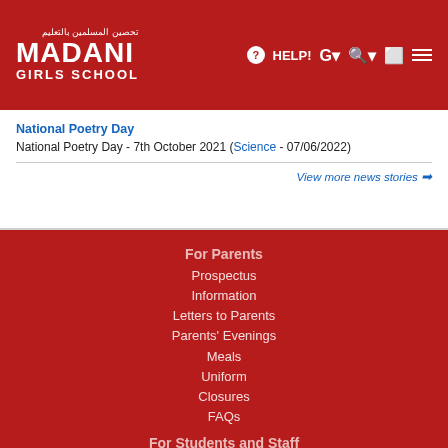تحصين المسلمين بالتعليم | MADANI GIRLS SCHOOL | HELP! [nav icons]
National Poetry Day
National Poetry Day - 7th October 2021 (Science - 07/06/2022)
View more news stories →
For Parents
Prospectus
Information
Letters to Parents
Parents' Evenings
Meals
Uniform
Closures
FAQs
For Students and Staff
Information